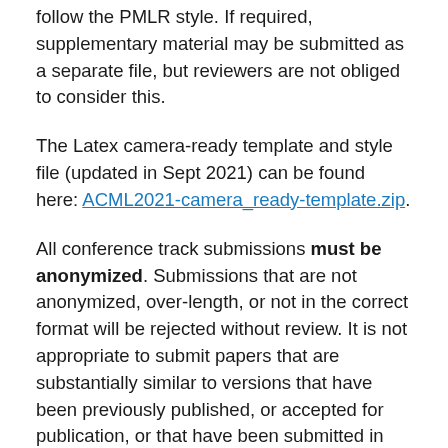follow the PMLR style. If required, supplementary material may be submitted as a separate file, but reviewers are not obliged to consider this.
The Latex camera-ready template and style file (updated in Sept 2021) can be found here: ACML2021-camera_ready-template.zip.
All conference track submissions must be anonymized. Submissions that are not anonymized, over-length, or not in the correct format will be rejected without review. It is not appropriate to submit papers that are substantially similar to versions that have been previously published, or accepted for publication, or that have been submitted in parallel to other conferences or journals. However, submission is permitted for papers presented or to be presented at conferences or workshops without proceedings, or with only abstracts published. Also, submission is permitted for papers that are available as a